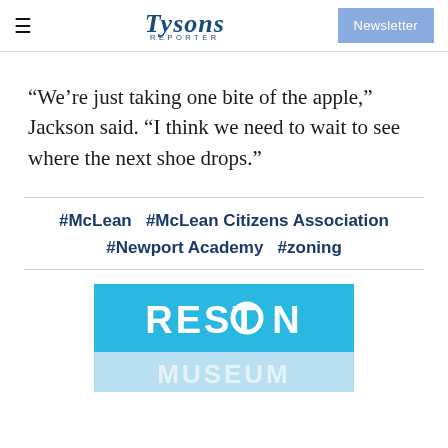Tysons Reporter | Newsletter
“We’re just taking one bite of the apple,” Jackson said. “I think we need to wait to see where the next shoe drops.”
#McLean   #McLean Citizens Association   #Newport Academy   #zoning
[Figure (logo): Reston Museum advertisement banner with teal background showing 'RESTON' in white bold letters on top, and 'MUSEUM' reflected/mirrored in lighter blue below.]